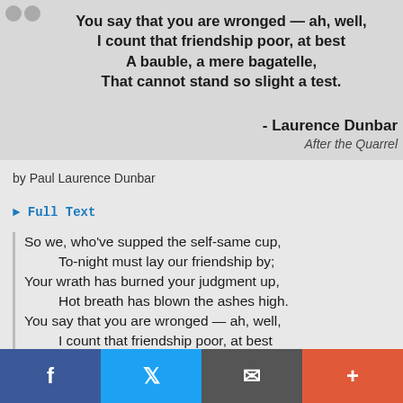You say that you are wronged — ah, well, I count that friendship poor, at best A bauble, a mere bagatelle, That cannot stand so slight a test.
- Laurence Dunbar
After the Quarrel
by Paul Laurence Dunbar
► Full Text
So we, who've supped the self-same cup,
    To-night must lay our friendship by;
Your wrath has burned your judgment up,
    Hot breath has blown the ashes high.
You say that you are wronged — ah, well,
    I count that friendship poor, at best
A bauble, a mere bagatelle,
    That cannot stand so slight a test.